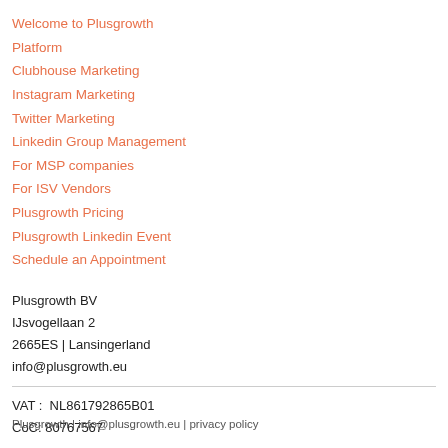Welcome to Plusgrowth Platform
Clubhouse Marketing
Instagram Marketing
Twitter Marketing
Linkedin Group Management
For MSP companies
For ISV Vendors
Plusgrowth Pricing
Plusgrowth Linkedin Event
Schedule an Appointment
Plusgrowth BV
IJsvogellaan 2
2665ES | Lansingerland
info@plusgrowth.eu
VAT :  NL861792865B01
CoC: 80767567
Plusgrowth | info@plusgrowth.eu | privacy policy